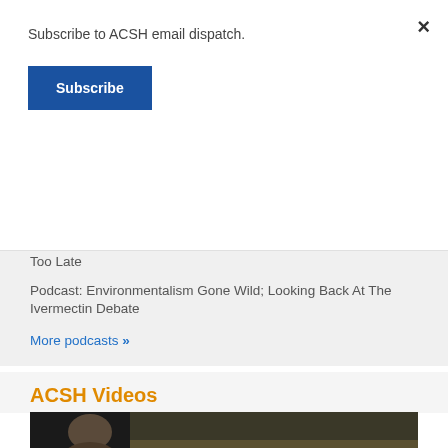Subscribe to ACSH email dispatch.
Subscribe
Podcast: FDA's Laughable Opioid 'Give-Back Program; 10 Anti-Pesticide 'Facts' Debunked
Podcast: Salt Ain't So Bad After All? Diagnosing SIDS Before It's Too Late
Podcast: Environmentalism Gone Wild; Looking Back At The Ivermectin Debate
More podcasts »
ACSH Videos
[Figure (photo): Video thumbnail showing a person, partial view]